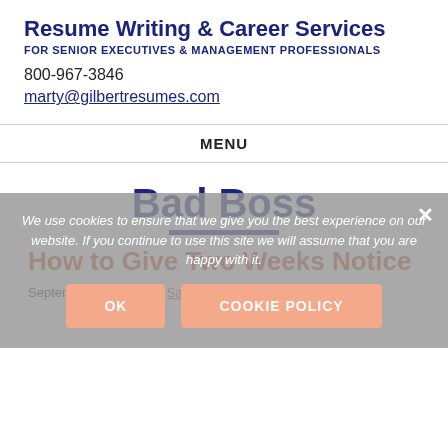Resume Writing & Career Services
FOR SENIOR EXECUTIVES & MANAGEMENT PROFESSIONALS
800-967-3846
marty@gilbertresumes.com
MENU
Bad Boss
How to Give Two Weeks Notice
September 13, 2021 by Sarah Lewis
We use cookies to ensure that we give you the best experience on our website. If you continue to use this site we will assume that you are happy with it.